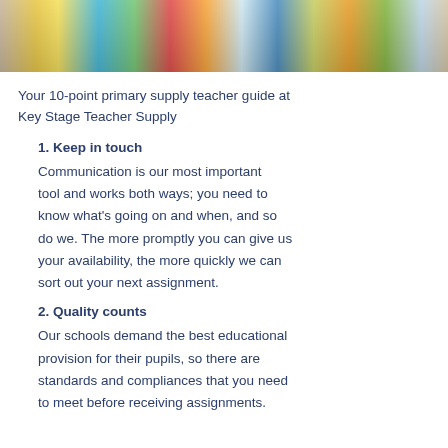[Figure (photo): Group photo of people holding up colorful cards in front of their faces]
Your 10-point primary supply teacher guide at Key Stage Teacher Supply
1. Keep in touch
Communication is our most important tool and works both ways; you need to know what’s going on and when, and so do we. The more promptly you can give us your availability, the more quickly we can sort out your next assignment.
2. Quality counts
Our schools demand the best educational provision for their pupils, so there are standards and compliances that you need to meet before receiving assignments.